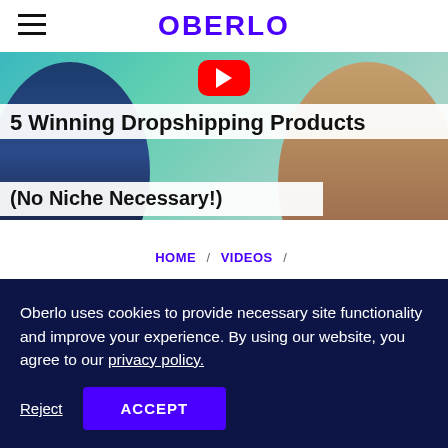OBERLO
[Figure (photo): Hero banner image showing people on a teal/cyan background with a YouTube play button icon, with white overlaid title text reading '5 Winning Dropshipping Products (No Niche Necessary!)']
5 Winning Dropshipping Products (No Niche Necessary!)
HOME / VIDEOS /
ONLINE GENERAL STORE:
Oberlo uses cookies to provide necessary site functionality and improve your experience. By using our website, you agree to our privacy policy.
Reject
ACCEPT